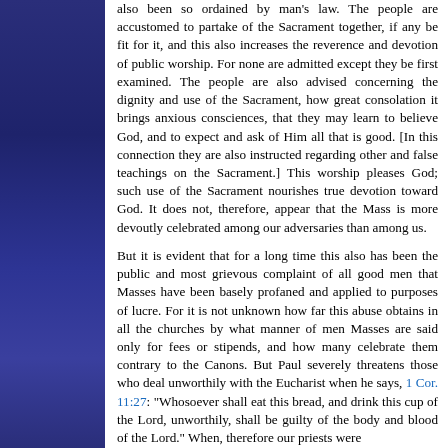also been so ordained by man's law. The people are accustomed to partake of the Sacrament together, if any be fit for it, and this also increases the reverence and devotion of public worship. For none are admitted except they be first examined. The people are also advised concerning the dignity and use of the Sacrament, how great consolation it brings anxious consciences, that they may learn to believe God, and to expect and ask of Him all that is good. [In this connection they are also instructed regarding other and false teachings on the Sacrament.] This worship pleases God; such use of the Sacrament nourishes true devotion toward God. It does not, therefore, appear that the Mass is more devoutly celebrated among our adversaries than among us.
But it is evident that for a long time this also has been the public and most grievous complaint of all good men that Masses have been basely profaned and applied to purposes of lucre. For it is not unknown how far this abuse obtains in all the churches by what manner of men Masses are said only for fees or stipends, and how many celebrate them contrary to the Canons. But Paul severely threatens those who deal unworthily with the Eucharist when he says, 1 Cor. 11:27: "Whosoever shall eat this bread, and drink this cup of the Lord, unworthily, shall be guilty of the body and blood of the Lord." When, therefore our priests were